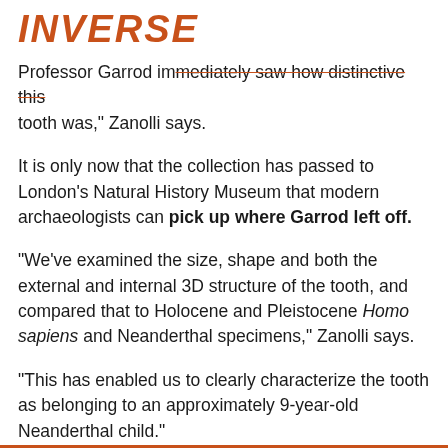INVERSE
Professor Garrod immediately saw how distinctive this tooth was," Zanolli says.
It is only now that the collection has passed to London's Natural History Museum that modern archaeologists can pick up where Garrod left off.
"We've examined the size, shape and both the external and internal 3D structure of the tooth, and compared that to Holocene and Pleistocene Homo sapiens and Neanderthal specimens," Zanolli says.
"This has enabled us to clearly characterize the tooth as belonging to an approximately 9-year-old Neanderthal child."
Jimbob Blinkhorn is the study's first author and a